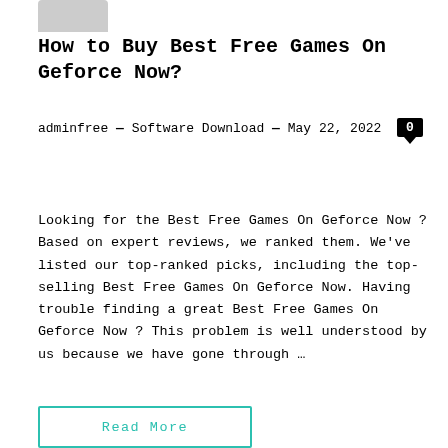[Figure (photo): Partial image of a product (top portion cut off) at the top of the page]
How to Buy Best Free Games On Geforce Now?
adminfree — Software Download — May 22, 2022  0
Looking for the Best Free Games On Geforce Now ? Based on expert reviews, we ranked them. We've listed our top-ranked picks, including the top-selling Best Free Games On Geforce Now. Having trouble finding a great Best Free Games On Geforce Now ? This problem is well understood by us because we have gone through …
Read More